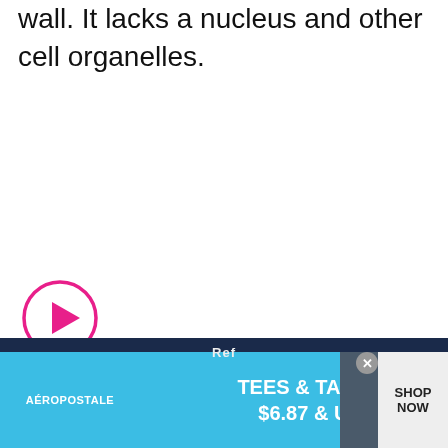wall. It lacks a nucleus and other cell organelles.
[Figure (other): Pink circular play button icon with a right-pointing triangle in the center]
[Figure (other): Advertisement banner for Aeropostale: TEES & TANKS $6.87 & UP with SHOP NOW button and clothing photo]